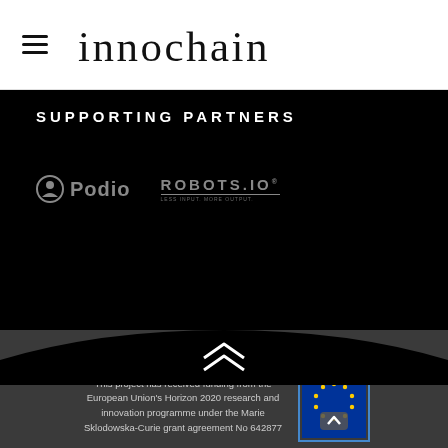[Figure (logo): innochain logo with hamburger menu icon on left, stylized innochain wordmark in center]
SUPPORTING PARTNERS
[Figure (logo): Podio logo (gray) and ROBOTS.IO logo (gray) displayed as supporting partner logos on black background]
[Figure (illustration): Double chevron up arrow icon on dark background transition wave]
This project has received funding from the European Union's Horizon 2020 research and innovation programme under the Marie Sklodowska-Curie grant agreement No 642877
[Figure (logo): European Union flag emblem badge in blue with yellow stars]